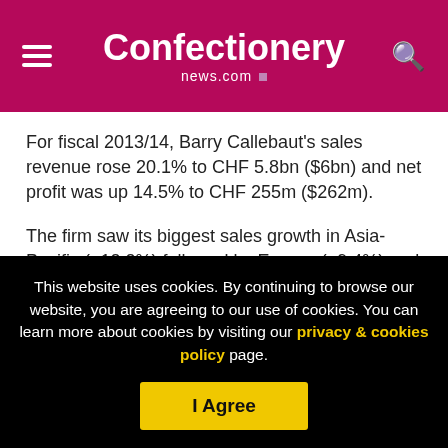Confectionery news.com
For fiscal 2013/14, Barry Callebaut's sales revenue rose 20.1% to CHF 5.8bn ($6bn) and net profit was up 14.5% to CHF 255m ($262m).
The firm saw its biggest sales growth in Asia-Pacific (+12.2%) followed by Europe (+9.4%) and the Americas (+8.8%).
By comparison, the global chocolate confectionery market
This website uses cookies. By continuing to browse our website, you are agreeing to our use of cookies. You can learn more about cookies by visiting our privacy & cookies policy page.